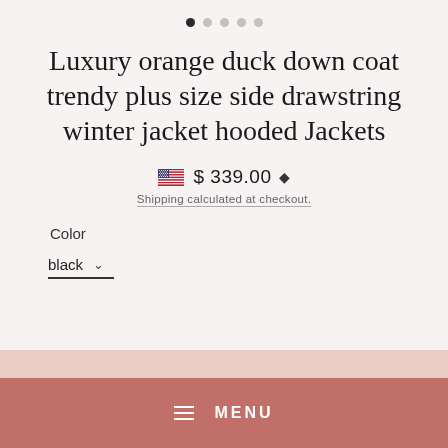[Figure (other): Five page indicator dots, first filled black, remaining four gray]
Luxury orange duck down coat trendy plus size side drawstring winter jacket hooded Jackets
$ 339.00
Shipping calculated at checkout.
Color
black
MENU